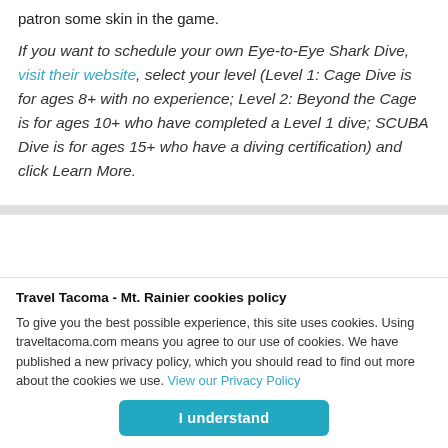patron some skin in the game.
If you want to schedule your own Eye-to-Eye Shark Dive, visit their website, select your level (Level 1: Cage Dive is for ages 8+ with no experience; Level 2: Beyond the Cage is for ages 10+ who have completed a Level 1 dive; SCUBA Dive is for ages 15+ who have a diving certification) and click Learn More.
Travel Tacoma - Mt. Rainier cookies policy
To give you the best possible experience, this site uses cookies. Using traveltacoma.com means you agree to our use of cookies. We have published a new privacy policy, which you should read to find out more about the cookies we use. View our Privacy Policy
I understand